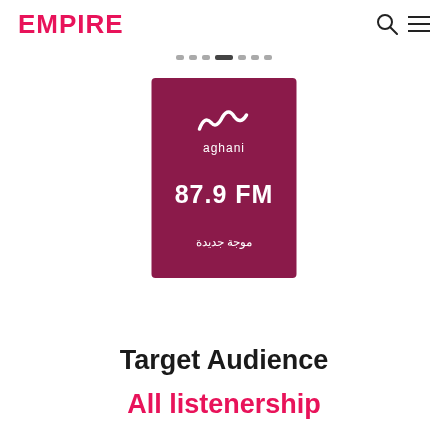EMPIRE
[Figure (logo): Aghani radio station card with magenta/dark pink background showing the Aghani logo (wave symbol), '87.9 FM' in large bold white text, and Arabic text 'موجة جديدة' below]
Target Audience
All listenership